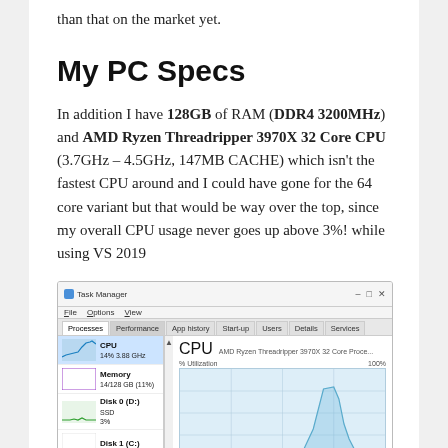than that on the market yet.
My PC Specs
In addition I have 128GB of RAM (DDR4 3200MHz) and AMD Ryzen Threadripper 3970X 32 Core CPU (3.7GHz – 4.5GHz, 147MB CACHE) which isn't the fastest CPU around and I could have gone for the 64 core variant but that would be way over the top, since my overall CPU usage never goes up above 3%! while using VS 2019
[Figure (screenshot): Windows Task Manager screenshot showing CPU (14% 3.88 GHz), Memory (14/128GB 11%), Disk 0 (D:) SSD 3%, and Disk 1 (C:) entries on the left panel, and a CPU performance graph on the right showing AMD Ryzen Threadripper 3970X 32 Core Processor utilization at 100% scale with a spike visible in the graph area.]